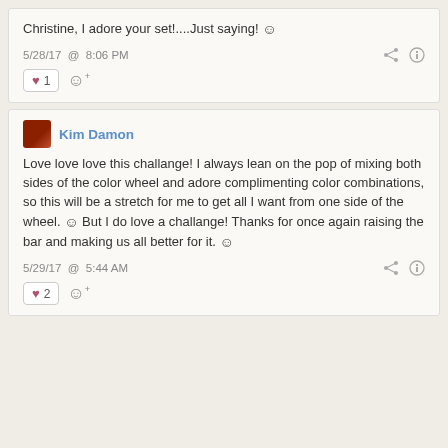Christine, I adore your set!....Just saying! 🙂
5/28/17 @ 8:06 PM
♥ 1
Kim Damon
Love love love this challange! I always lean on the pop of mixing both sides of the color wheel and adore complimenting color combinations, so this will be a stretch for me to get all I want from one side of the wheel. 🙂 But I do love a challange! Thanks for once again raising the bar and making us all better for it. 🙂
5/29/17 @ 5:44 AM
♥ 2